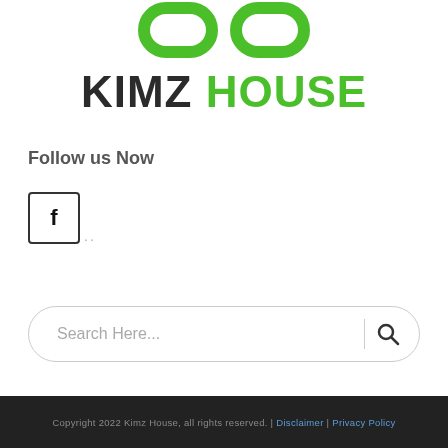[Figure (logo): Kimz House logo with green curved shape icon on top and KIMZ in dark color and HOUSE in green color below]
Follow us Now
[Figure (illustration): Facebook icon - letter f in a rounded square box]
[Figure (illustration): Search bar with placeholder text 'Search Here...' and a magnifying glass icon]
Copyright 2022 Kimz House, all rights reserved. | Disclaimer | Privacy Policy